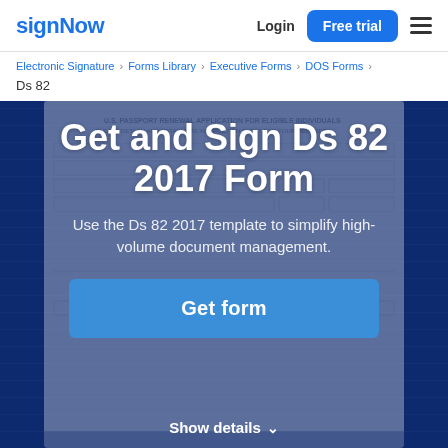signNow | Login | Free trial
Electronic Signature › Forms Library › Executive Forms › DOS Forms › Ds 82
Get and Sign Ds 82 2017 Form
Use the Ds 82 2017 template to simplify high-volume document management.
Get form
Show details